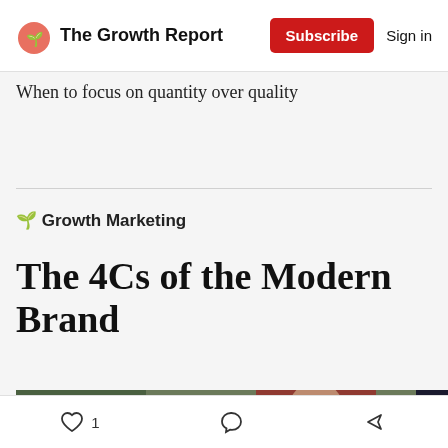The Growth Report | Subscribe | Sign in
When to focus on quantity over quality
🌱 Growth Marketing
The 4Cs of the Modern Brand
[Figure (photo): Photo of people sitting at a table with drinks and items, one wearing a floral shirt, another in red jacket, with a white bottle visible]
1 [like] [comment] [share]